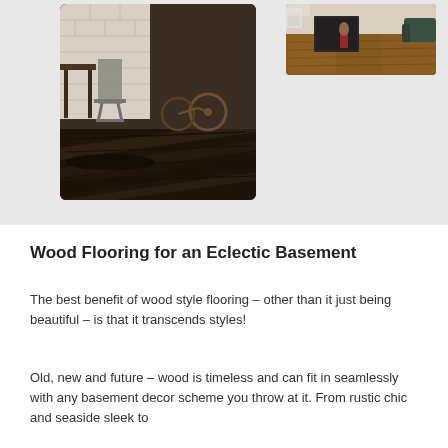[Figure (photo): Dark wood flooring in an industrial-style room with metal bar stools and a bicycle in the background]
[Figure (photo): Warm brown wood flooring in a living room with a dark island and a green sofa]
Wood Flooring for an Eclectic Basement
The best benefit of wood style flooring – other than it just being beautiful – is that it transcends styles!
Old, new and future – wood is timeless and can fit in seamlessly with any basement decor scheme you throw at it. From rustic chic and seaside sleek to